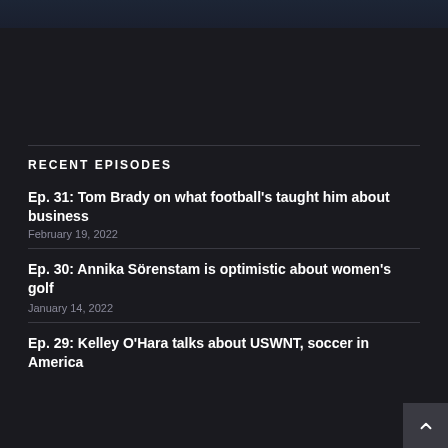[Figure (photo): Dark banner image at top of page]
RECENT EPISODES
Ep. 31: Tom Brady on what football's taught him about business
February 19, 2022
Ep. 30: Annika Sörenstam is optimistic about women's golf
January 14, 2022
Ep. 29: Kelley O'Hara talks about USWNT, soccer in America